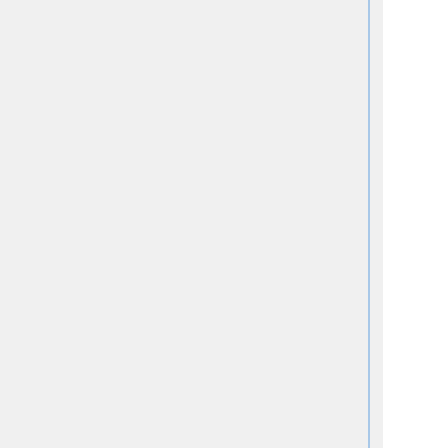accounts for 1999 show that 60% of its income comes from donors (20% from donors over £5,000) and 10% comes from commercial activities (events and sponsorship). The Trade Unions, who once generated 90% of the Party's income, now provide only 30% (and only 3 high-value donations in 1998-9).
The proportion of New Labour's funds coming from very rich individuals has dramatically increased in the last 4 years and continues to do so, as Tony Blair moves to distance himself from any responsibility to the Unions and the Party's traditional core of working class supporters. What was supposed to be the 'Party of the working class' is funded by the rich and packed out with businessmen.
The rewards are big for the big spenders